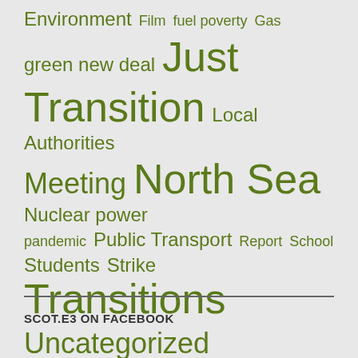[Figure (infographic): Tag cloud with olive/dark green words of varying sizes representing topics: Environment, Film, fuel poverty, Gas, green new deal, Just, Transition, Local Authorities, Meeting, North Sea, Nuclear power, pandemic, Public Transport, Report, School, Students, Strike, Transitions, Uncategorized]
SCOT.E3 ON FACEBOOK